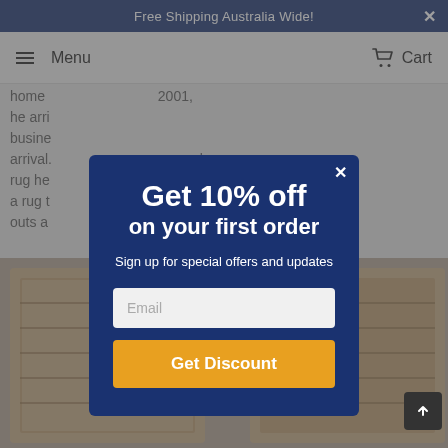Free Shipping Australia Wide!
Menu   Cart
home... 2001, he arri... busine... arrival.... gle rug he... uying a rug t... nd outs a...
[Figure (screenshot): Modal popup overlay on an e-commerce rug website]
Get 10% off on your first order
Sign up for special offers and updates
Email
Get Discount
[Figure (photo): Decorative rugs displayed at the bottom of the page]